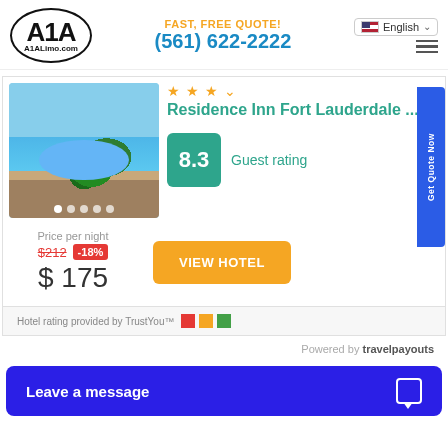A1ALimo.com — FAST, FREE QUOTE! (561) 622-2222 — English
[Figure (photo): Hotel swimming pool with palm trees and blue water]
Residence Inn Fort Lauderdale ...
8.3 Guest rating
Price per night $212 -18% $ 175
VIEW HOTEL
Hotel rating provided by TrustYou™
Powered by travelpayouts
Leave a message